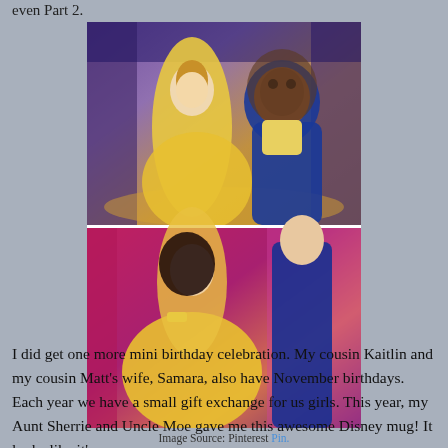even Part 2.
[Figure (photo): Two stacked images: top image shows animated characters Belle and the Beast from Disney's Beauty and the Beast dancing; bottom image shows a real woman in a yellow dress and a man in a blue suit seated together, resembling Belle and the Beast.]
Image Source: Pinterest Pin.
I did get one more mini birthday celebration.  My cousin Kaitlin and my cousin Matt's wife, Samara, also have November birthdays.  Each year we have a small gift exchange for us girls.  This year, my Aunt Sherrie and Uncle Moe gave me this awesome Disney mug!  It looks like it's a